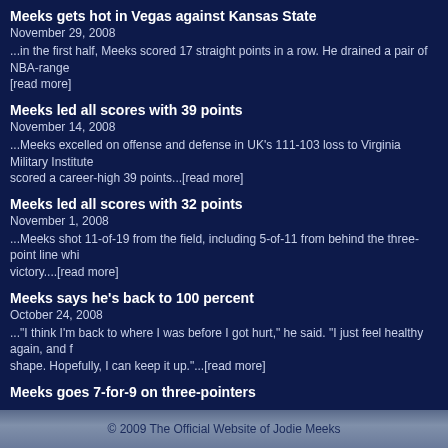Meeks gets hot in Vegas against Kansas State
November 29, 2008
...in the first half, Meeks scored 17 straight points in a row. He drained a pair of NBA-range [read more]
Meeks led all scores with 39 points
November 14, 2008
...Meeks excelled on offense and defense in UK's 111-103 loss to Virginia Military Institute scored a career-high 39 points...[read more]
Meeks led all scores with 32 points
November 1, 2008
...Meeks shot 11-of-19 from the field, including 5-of-11 from behind the three-point line whi victory....[read more]
Meeks says he's back to 100 percent
October 24, 2008
..."I think I'm back to where I was before I got hurt," he said. "I just feel healthy again, and f shape. Hopefully, I can keep it up."...[read more]
Meeks goes 7-for-9 on three-pointers
October 31, 2007
..."He was hotter than a match," Pikeville Coach Kelly Wells said of Meeks' seven first-half
Meeks Lead Cats Past Pikeville
October 31, 2007
...by far the hottest touch belonged to sophomore guard Jodie Meeks. He led the way with connecting on seven of his nine 3-point attempts. Meeks' 27 points in the first half matched total...[read more]
© 2009 The Official Website of Jodie Meeks